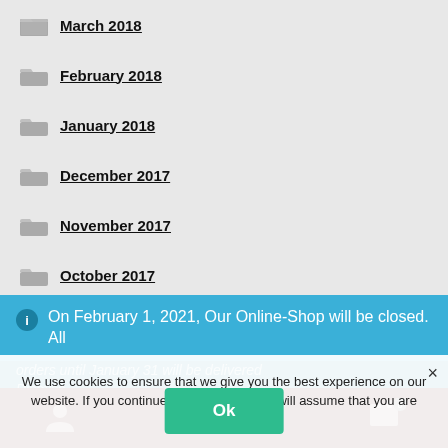March 2018
February 2018
January 2018
December 2017
November 2017
October 2017
September 2017
August 2017
On February 1, 2021, Our Online-Shop will be closed. All orders until January 31 will be delivered
Dismiss
We use cookies to ensure that we give you the best experience on our website. If you continue to use this site we will assume that you are happy with it.
Ok